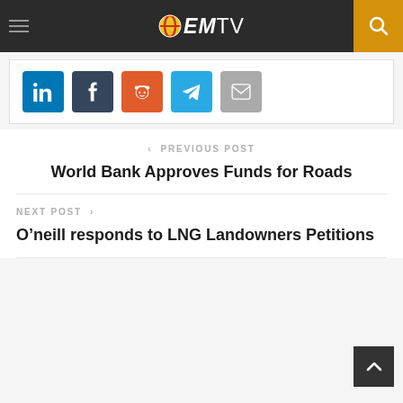EMTV
[Figure (screenshot): Social media share buttons: LinkedIn, Tumblr, Reddit, Telegram, Email]
< PREVIOUS POST
World Bank Approves Funds for Roads
NEXT POST >
O’neill responds to LNG Landowners Petitions